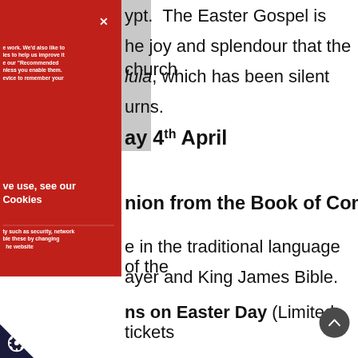ypt. The Easter Gospel is the joy and splendour that the church luia, which has been silent urns.
ay 4th April
nion from the Book of Common
e in the traditional language of the ayer and King James Bible.
ns on Easter Day (Limited tickets
e work. We'd also like to ies to help us improve it e our "Recommended nless you enable them. evice to remember your
ve use, see our Cookies
ty such as security, network ble these by changing he website